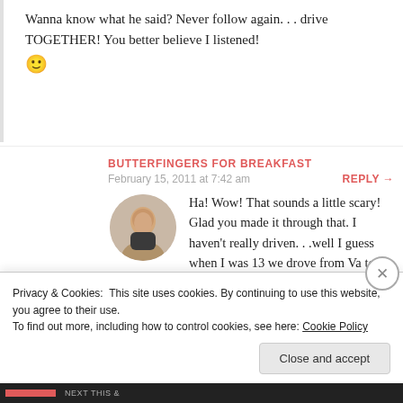Wanna know what he said? Never follow again. . . drive TOGETHER! You better believe I listened! 🙂
BUTTERFINGERS FOR BREAKFAST
February 15, 2011 at 7:42 am
REPLY →
Ha! Wow! That sounds a little scary! Glad you made it through that. I haven't really driven. . .well I guess when I was 13 we drove from Va to North Dakota. And we used to drive to Minnesota every year when I was a kid and I always enjoyed it
Privacy & Cookies: This site uses cookies. By continuing to use this website, you agree to their use.
To find out more, including how to control cookies, see here: Cookie Policy
Close and accept